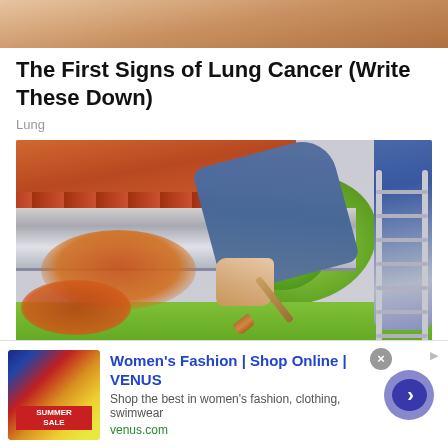[Figure (photo): Cropped top portion of a person's hand or fingers, warm skin tones, partial view]
The First Signs of Lung Cancer (Write These Down)
Lung
[Figure (photo): A person on a ladder painting or sealing a metal roof gutter with rust-colored paint/sealant, using a paintbrush. Red/orange roof tiles visible at top, green lawn and trees in background.]
Women's Fashion | Shop Online | VENUS
Shop the best in women's fashion, clothing, swimwear
venus.com